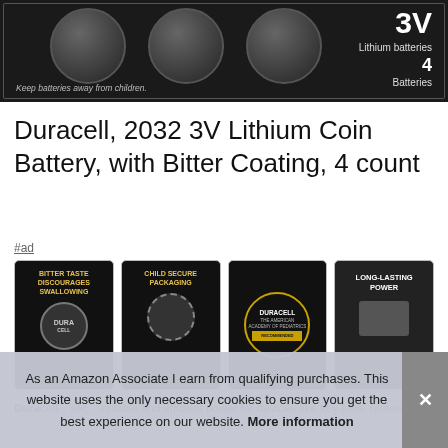[Figure (photo): Duracell 2032 3V Lithium Coin Battery product packaging image on dark background. Shows coin batteries with '3V Lithium batteries 4 Batteries' text and 'Keep batteries away from children' warning.]
Duracell, 2032 3V Lithium Coin Battery, with Bitter Coating, 4 count
#ad
[Figure (photo): Four product feature thumbnail images: 1) Bitter Taste Discourages Swallowing with Duracell coin battery, 2) Child Secure Packaging, 3) Duracell endorsed by The American Academy of Pediatrics, 4) Long-Lasting Power with device usage.]
Dura... sec... reliable and efficient power for devices like key fobs, remote
As an Amazon Associate I earn from qualifying purchases. This website uses the only necessary cookies to ensure you get the best experience on our website. More information